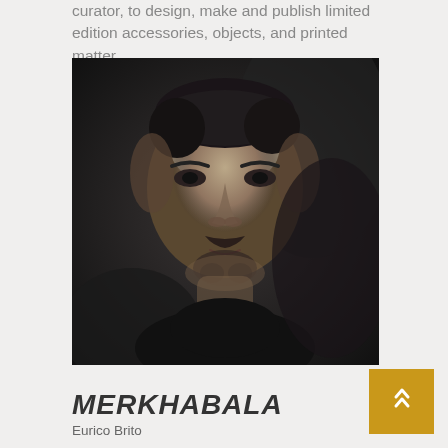curator, to design, make and publish limited edition accessories, objects, and printed matter.
[Figure (photo): Black and white portrait photograph of a man with a moustache and short dark hair, looking directly at the camera.]
MERKHABALA
Eurico Brito